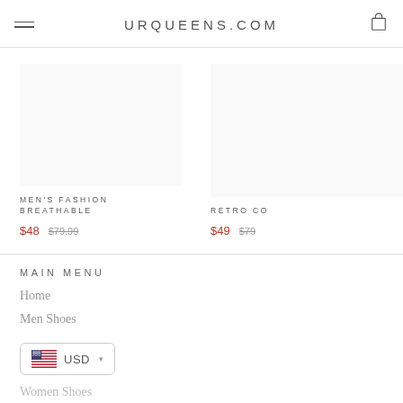URQUEENS.COM
MEN'S FASHION BREATHABLE
$48  $79.99
RETRO CO
$49  $79
MAIN MENU
Home
Men Shoes
USD
Women Shoes